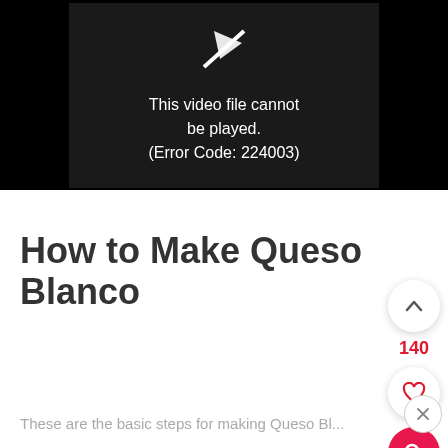[Figure (screenshot): Video player showing error: 'This video file cannot be played. (Error Code: 224003)' on a dark background with a broken play icon.]
How to Make Queso Blanco
These are the basic steps for making Queso Bl...